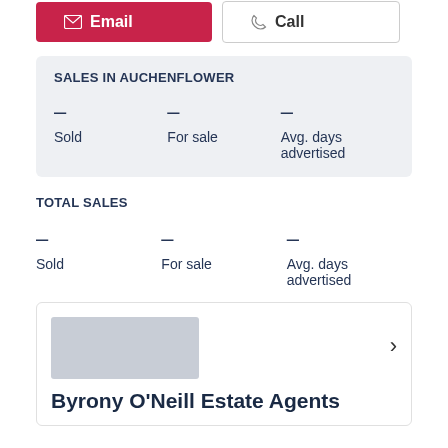[Figure (other): Email and Call buttons at top of page]
SALES IN AUCHENFLOWER
- Sold   - For sale   - Avg. days advertised
TOTAL SALES
- Sold   - For sale   - Avg. days advertised
[Figure (other): Agent logo placeholder (grey rectangle) with chevron arrow]
Byrony O'Neill Estate Agents